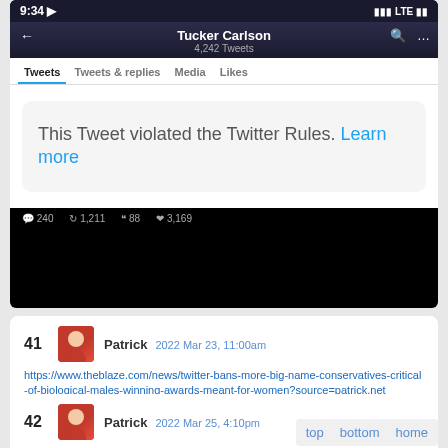[Figure (screenshot): Twitter/X profile screenshot of Tucker Carlson showing 4,242 Tweets. A tweet card reads 'This Tweet violated the Twitter Rules. Learn more' with engagement stats: 240 comments, 1,211 retweets, 88 quotes, 3,169 likes.]
41  Patrick  2022 Mar 23, 11:00am
https://www.theblaze.com/news/twitter-bans-more-big-name-conservatives-critical-of-biological-males-winning-awards-meant-for-women?source=patrick.net
42  Patrick  2022 Mar 25, 4:10pm
top   bottom   home